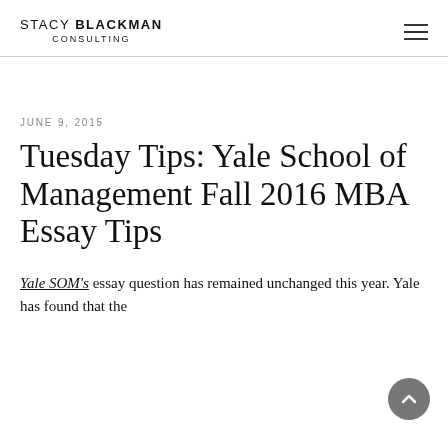STACY BLACKMAN CONSULTING
JUNE 9, 2015
Tuesday Tips: Yale School of Management Fall 2016 MBA Essay Tips
Yale SOM's essay question has remained unchanged this year. Yale has found that the